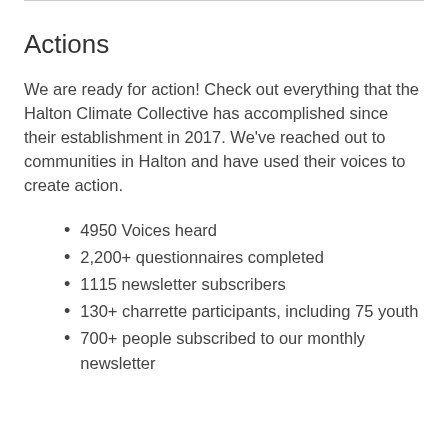Actions
We are ready for action! Check out everything that the Halton Climate Collective has accomplished since their establishment in 2017. We've reached out to communities in Halton and have used their voices to create action.
4950 Voices heard
2,200+ questionnaires completed
1115 newsletter subscribers
130+ charrette participants, including 75 youth
700+ people subscribed to our monthly newsletter